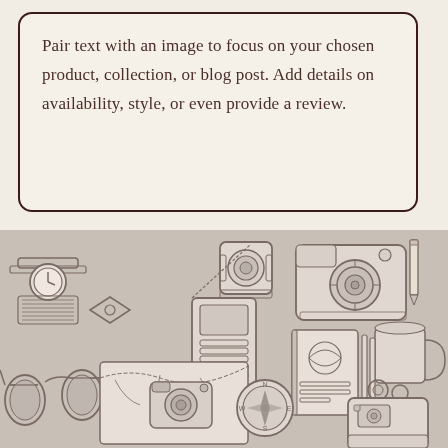Pair text with an image to focus on your chosen product, collection, or blog post. Add details on availability, style, or even provide a review.
[Figure (illustration): Flat line illustration of travel and photography items laid out on a surface: wristwatch, camera lens, flash unit, DSLR camera, pencil, notebook/journal, compass, sunglasses, map with vintage camera, passport/document, coffee mug, pens/stylus, instant camera, various small accessories.]